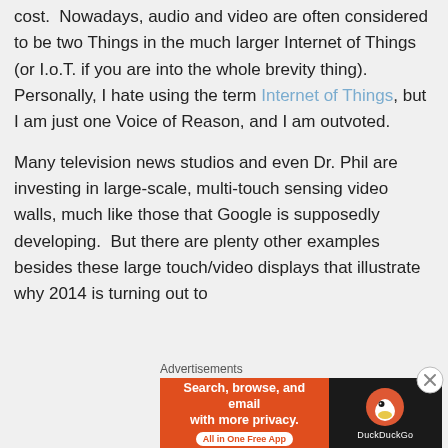cost.  Nowadays, audio and video are often considered to be two Things in the much larger Internet of Things (or I.o.T. if you are into the whole brevity thing). Personally, I hate using the term Internet of Things, but I am just one Voice of Reason, and I am outvoted.
Many television news studios and even Dr. Phil are investing in large-scale, multi-touch sensing video walls, much like those that Google is supposedly developing.  But there are plenty other examples besides these large touch/video displays that illustrate why 2014 is turning out to
Advertisements
[Figure (other): DuckDuckGo advertisement banner: orange left panel reading 'Search, browse, and email with more privacy. All in One Free App' and black right panel with DuckDuckGo duck logo and brand name.]